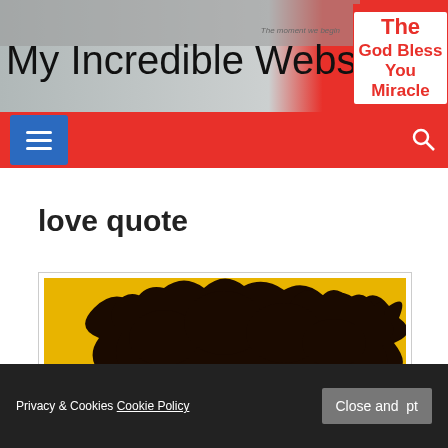My Incredible Website
[Figure (screenshot): Website header with navigation bar showing hamburger menu button and search icon on red background]
love quote
[Figure (photo): Black silhouette of a tree against a yellow/golden background]
Privacy & Cookies Cookie Policy
Close and accept